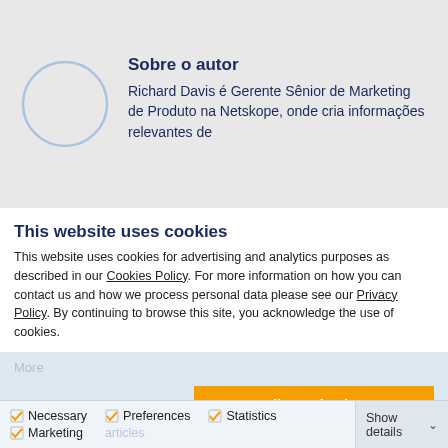Sobre o autor
Richard Davis é Gerente Sênior de Marketing de Produto na Netskope, onde cria informações relevantes de
This website uses cookies
This website uses cookies for advertising and analytics purposes as described in our Cookies Policy. For more information on how you can contact us and how we process personal data please see our Privacy Policy. By continuing to browse this site, you acknowledge the use of cookies.
Allow selection
Allow all cookies
Necessary   Preferences   Statistics   Marketing
Show details